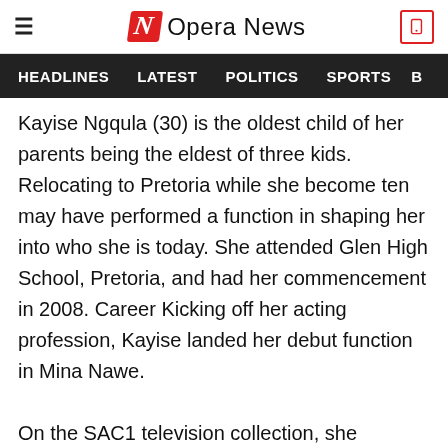Opera News
HEADLINES   LATEST   POLITICS   SPORTS
Kayise Ngqula (30) is the oldest child of her parents being the eldest of three kids. Relocating to Pretoria while she become ten may have performed a function in shaping her into who she is today. She attended Glen High School, Pretoria, and had her commencement in 2008. Career Kicking off her acting profession, Kayise landed her debut function in Mina Nawe.

On the SAC1 television collection, she become cast as Portia. She then landed any other position on-display screen on It's Complicated [button] played a guest function as